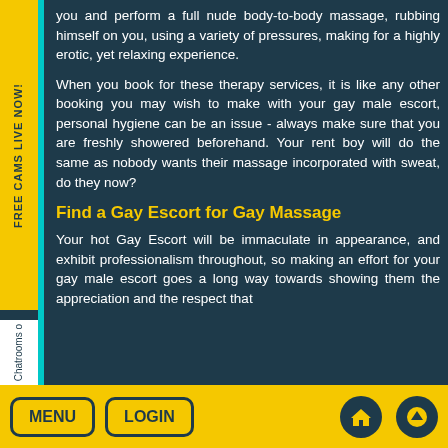you and perform a full nude body-to-body massage, rubbing himself on you, using a variety of pressures, making for a highly erotic, yet relaxing experience.
When you book for these therapy services, it is like any other booking you may wish to make with your gay male escort, personal hygiene can be an issue - always make sure that you are freshly showered beforehand. Your rent boy will do the same as nobody wants their massage incorporated with sweat, do they now?
Find a Gay Escort for Gay Massage
Your hot Gay Escort will be immaculate in appearance, and exhibit professionalism throughout, so making an effort for your gay male escort goes a long way towards showing them the appreciation and the respect that
MENU  LOGIN